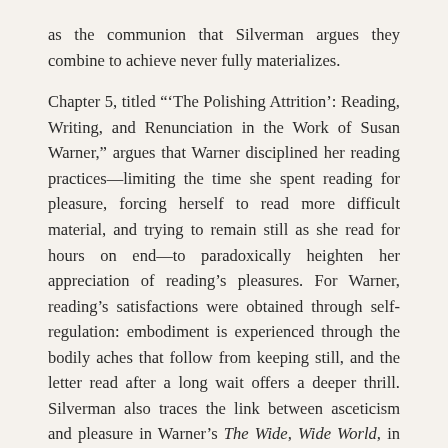as the communion that Silverman argues they combine to achieve never fully materializes.
Chapter 5, titled "‘The Polishing Attrition’: Reading, Writing, and Renunciation in the Work of Susan Warner," argues that Warner disciplined her reading practices—limiting the time she spent reading for pleasure, forcing herself to read more difficult material, and trying to remain still as she read for hours on end—to paradoxically heighten her appreciation of reading’s pleasures. For Warner, reading’s satisfactions were obtained through self-regulation: embodiment is experienced through the bodily aches that follow from keeping still, and the letter read after a long wait offers a deeper thrill. Silverman also traces the link between asceticism and pleasure in Warner’s The Wide, Wide World, in which the protagonist Ellen Montgomery’s initially